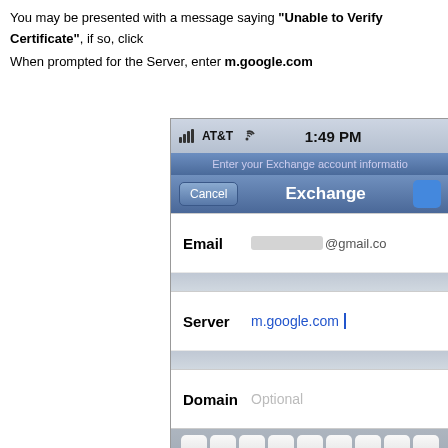You may be presented with a message saying "Unable to Verify Certificate", if so, click
When prompted for the Server, enter m.google.com
[Figure (screenshot): iPhone screenshot showing Exchange account setup screen with AT&T carrier, 1:49 PM time, Email field with blurred @gmail.com address, Server field with m.google.com entered, Domain field with Optional placeholder, and on-screen QWERTY keyboard showing Q W E R T Y U I O and A S D F G H J K rows]